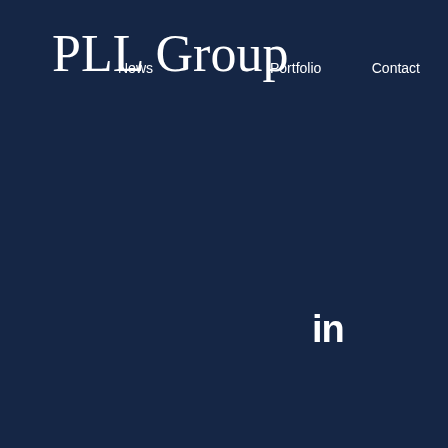PLL Group
News    Portfolio    Contact
[Figure (logo): LinkedIn 'in' icon in white on dark navy background]